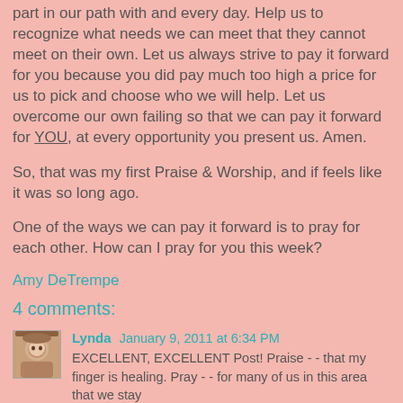part in our path with and every day. Help us to recognize what needs we can meet that they cannot meet on their own. Let us always strive to pay it forward for you because you did pay much too high a price for us to pick and choose who we will help. Let us overcome our own failing so that we can pay it forward for YOU, at every opportunity you present us. Amen.
So, that was my first Praise & Worship, and if feels like it was so long ago.
One of the ways we can pay it forward is to pray for each other. How can I pray for you this week?
Amy DeTrempe
4 comments:
Lynda January 9, 2011 at 6:34 PM
EXCELLENT, EXCELLENT Post! Praise - - that my finger is healing. Pray - - for many of us in this area that we stay